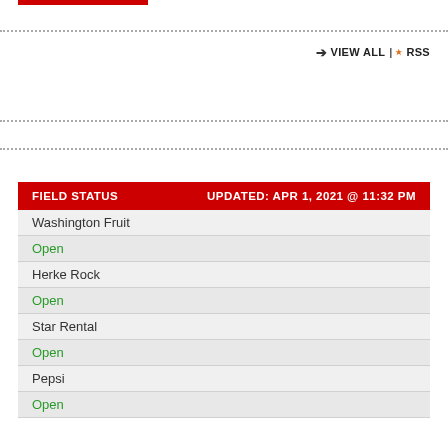→ VIEW ALL | RSS
| FIELD STATUS | UPDATED: APR 1, 2021 @ 11:32 PM |
| --- | --- |
| Washington Fruit |  |
| Open |  |
| Herke Rock |  |
| Open |  |
| Star Rental |  |
| Open |  |
| Pepsi |  |
| Open |  |